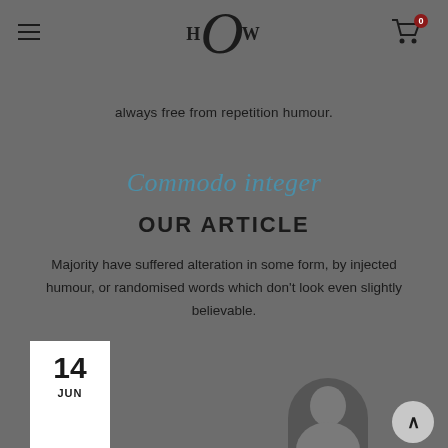HOW logo with hamburger menu and cart icon
always free from repetition humour.
Commodo integer
OUR ARTICLE
Majority have suffered alteration in some form, by injected humour, or randomised words which don't look even slightly believable.
14 JUN